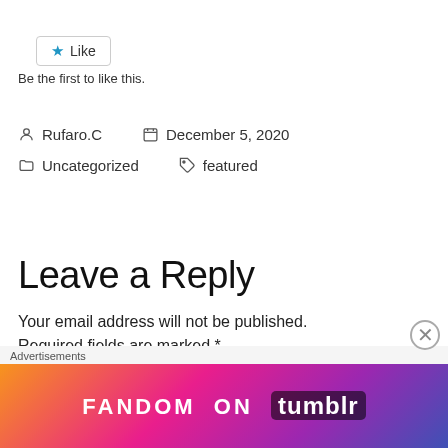[Figure (other): Like button with blue star icon]
Be the first to like this.
Rufaro.C   December 5, 2020
Uncategorized   featured
Leave a Reply
Your email address will not be published.
Required fields are marked *
Advertisements
[Figure (other): Fandom on Tumblr advertisement banner with colorful gradient background]